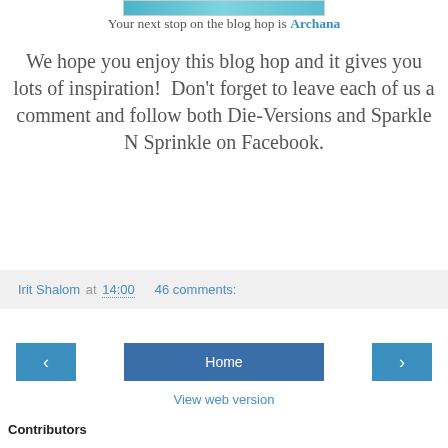[Figure (photo): Partial image strip at top, appears to be a cropped photo with blue/teal tones]
Your next stop on the blog hop is Archana
We hope you enjoy this blog hop and it gives you lots of inspiration!  Don't forget to leave each of us a comment and follow both Die-Versions and Sparkle N Sprinkle on Facebook.
Irit Shalom at 14:00    46 comments:
Home
View web version
Contributors